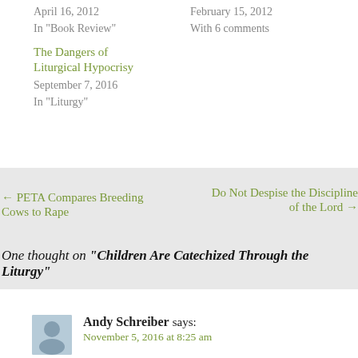April 16, 2012
In "Book Review"
February 15, 2012
With 6 comments
The Dangers of Liturgical Hypocrisy
September 7, 2016
In "Liturgy"
← PETA Compares Breeding Cows to Rape
Do Not Despise the Discipline of the Lord →
One thought on "Children Are Catechized Through the Liturgy"
Andy Schreiber says:
November 5, 2016 at 8:25 am